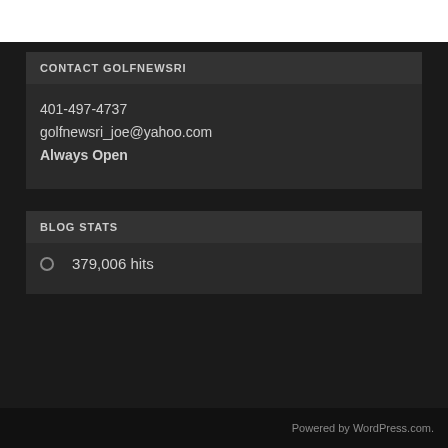CONTACT GOLFNEWSRI
401-497-4737
golfnewsri_joe@yahoo.com
Always Open
BLOG STATS
379,006 hits
Powered by WordPress.com.